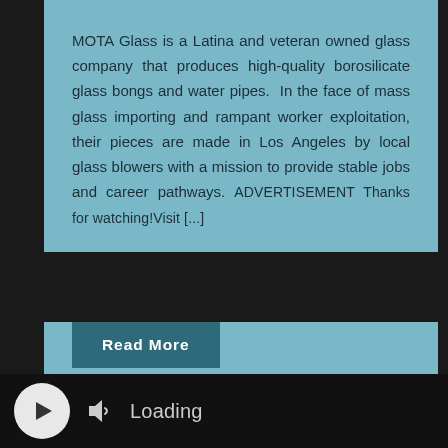MOTA Glass is a Latina and veteran owned glass company that produces high-quality borosilicate glass bongs and water pipes.  In the face of mass glass importing and rampant worker exploitation, their pieces are made in Los Angeles by local glass blowers with a mission to provide stable jobs and career pathways. ADVERTISEMENT Thanks for watching!Visit [...]
Read More
24 MAY 2022
[Figure (photo): Dark background photo with a bright light ray or subject in center, partially visible]
Loading